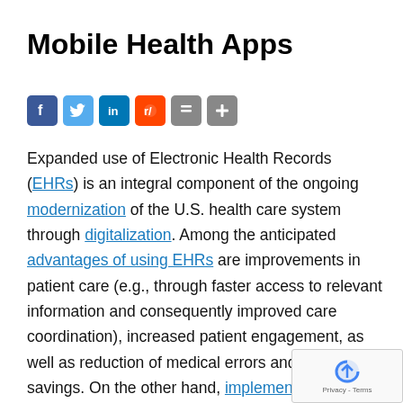Mobile Health Apps
[Figure (infographic): Social sharing icons: Facebook, Twitter, LinkedIn, Reddit, Email, Share]
Expanded use of Electronic Health Records (EHRs) is an integral component of the ongoing modernization of the U.S. health care system through digitalization. Among the anticipated advantages of using EHRs are improvements in patient care (e.g., through faster access to relevant information and consequently improved care coordination), increased patient engagement, as well as reduction of medical errors and cost savings. On the other hand, implementing EHRs in a sustainable and legally compliant way requires upfront investment in hardware, software, training, workflow restructuring, as well as management of risks uniqu